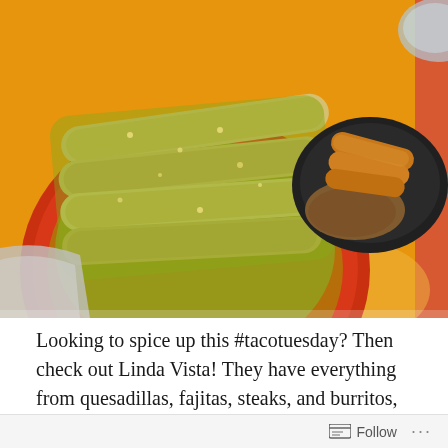[Figure (photo): Overhead view of Mexican food dishes on a colorful table. A red/orange oval plate with enchiladas covered in green salsa verde sauce on the left. On the right side, a black bowl with fried taquitos and refried beans, plus a small white bowl with red salsa. The table surface features bold orange, blue, and yellow painted patterns.]
Looking to spice up this #tacotuesday? Then check out Linda Vista! They have everything from quesadillas, fajitas, steaks, and burritos, as well as a
Follow ···